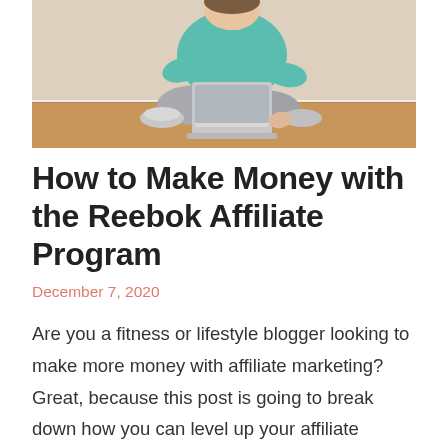[Figure (photo): A person sitting on the floor with crossed legs, wearing a teal top and grey pants and sneakers, working on a silver laptop. Wooden floor and white baseboard visible in background.]
How to Make Money with the Reebok Affiliate Program
December 7, 2020
Are you a fitness or lifestyle blogger looking to make more money with affiliate marketing? Great, because this post is going to break down how you can level up your affiliate marketing game by using the Reebok Affiliate